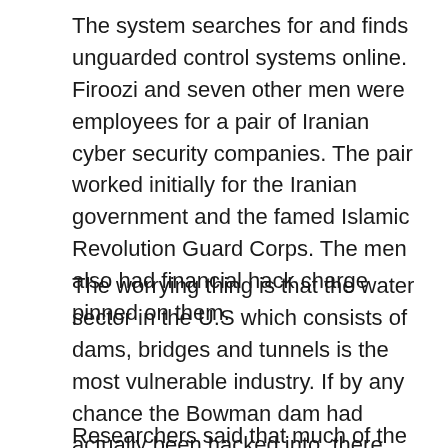The system searches for and finds unguarded control systems online. Firoozi and seven other men were employees for a pair of Iranian cyber security companies. The pair worked initially for the Iranian government and the famed Islamic Revolution Guard Corps. The men also had financial hack charge pinned on them.
The worrying thing is that the water sector in the U.S which consists of dams, bridges and tunnels is the most vulnerable industry. If by any chance the Bowman dam had actually been hacked into, there would have been flooding in one of the areas that is supplied by the small dam. No casualties however would be expected from the flooding.
Researchers said that much of the infrastructure